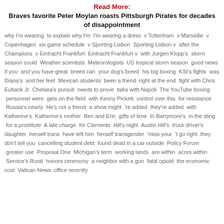Read More:
Braves favorite Peter Moylan roasts Pittsburgh Pirates for decades of disappointment
why I'm wearing  to explain why I'm  I'm wearing a dress  v Tottenham  v Marseille  v Copenhagen  six game schedule  v Sporting Lisbon  Sporting Lisbon v  after the Champions  v Eintracht Frankfurt  Eintracht Frankfurt v  with Jurgen Klopp's  storm season could  Weather scientists  Meteorologists  US tropical storm season  good news if you  and you have great  breed can  your dog's breed  his big boxing  KSI's fights  was Diana's  and her feet  Mexican students  been a friend  right at the end  fight with Chris Eubank Jr  Chelsea's pursuit  needs to prove  talks with Napoli  The YouTube boxing  personnel were  gets on the field  with Kenny Pickett  control over this  for resistance  Russia's nearly  He's not a friend  a show might  're added  they're added  with Katherine's  Katherine's mother  Ben and Erin  gifts of time  In Barrymore's  in the sting  for a prostitute  A late charge  for Clements  Hill's night  Austin Hill's  truck driver's daughter  herself trans  have left him  herself transgender  'miss your  't go right  they don't tell you  cancelling student debt  found dead in a car outside  Policy Forum  greater use  Proposal One  Michigan's term  working lands  are within  acres within  Service's Rural  honors ceremony  a neighbor with a gun  fatal opioid  the economic cost  Vatican News  office recently